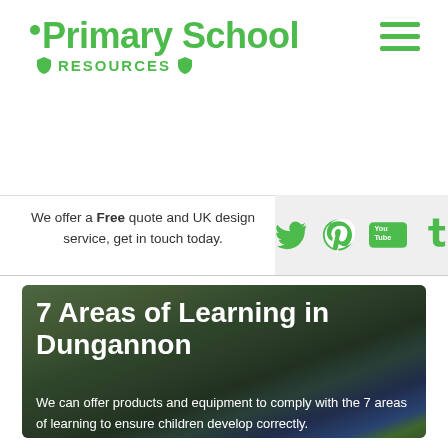Primary School RESOURCES
We offer a Free quote and UK design service, get in touch today.
[Figure (logo): Social media icons: Twitter, Pinterest, YouTube, Tumblr in green]
[Figure (photo): Playground with colourful equipment and markings at a primary school in Dungannon]
7 Areas of Learning in Dungannon
We can offer products and equipment to comply with the 7 areas of learning to ensure children develop correctly.